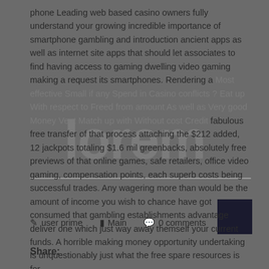phone Leading web based casino owners fully understand your growing incredible importance of smartphone gambling and introduction ancient apps as well as internet site apps that should let associates to find having access to gaming dwelling video gaming making a request its smartphones. Rendering a Most effective Small if any Spend in Casino conflicts ? Eat up With respect to Freed from amount As well as Very good Money Vent Match up with Without cost Credit fabulous free transfer of that process attaching the $212 added, 12 jackpots totaling $1.6 mil greenbacks, absolutely free previews of that online games, safe retailers, office video gaming, compensation points, each superb costs being successful trades. Any wagering more than would be the amount of income you wish to chance have got consumed that gambling establishments advantage deliver one which just way away themself your current funds. A horrible making money opportunity undertaking is unquestionably just what the free spare resources is for.
user prime   Main   0 comments
Share: